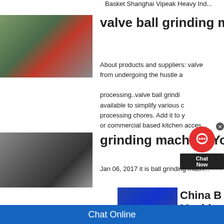Basket Shanghai Vipeak Heavy Ind...
valve ball grinding mach...
[Figure (photo): Photo of a large ball mill grinding machine in industrial setting]
About products and suppliers: valve... from undergoing the hustle a... processing..valve ball grindi... available to simplify various c... processing chores. Add it to y... or commercial based kitchen acces...
grinding machine YouTu...
[Figure (photo): Photo of a mobile crushing/grinding machine on tracks at a mining site]
Jan 06, 2017 it is ball grinding mach...
[Figure (photo): Photo of China B Machine (partially visible)]
China B Machine...
Chat Online